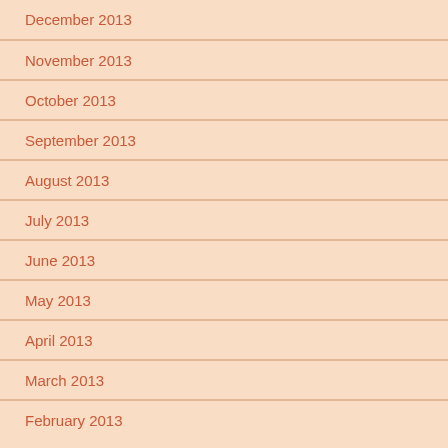December 2013
November 2013
October 2013
September 2013
August 2013
July 2013
June 2013
May 2013
April 2013
March 2013
February 2013